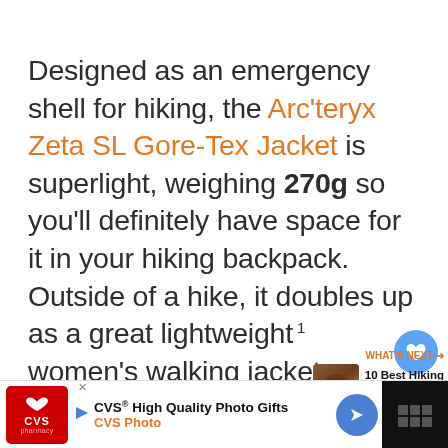Designed as an emergency shell for hiking, the Arc'teryx Zeta SL Gore-Tex Jacket is superlight, weighing 270g so you'll definitely have space for it in your hiking backpack. Outside of a hike, it doubles up as a great lightweight women's walking jacket.
Equipped with GORE-TEX Paclite
WHAT'S NEXT → 10 Best Hiking Underwear F...
[Figure (other): CVS Pharmacy advertisement banner with heart logo, CVS High Quality Photo Gifts / CVS Photo text, blue arrow button, and dark right panel]